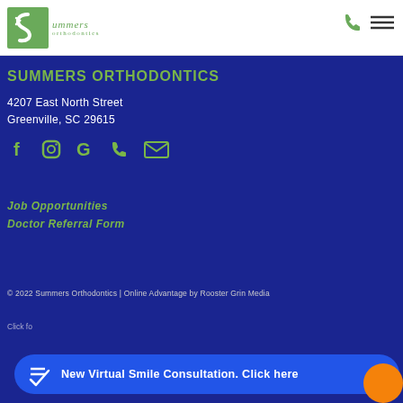[Figure (logo): Summers Orthodontics logo: green square with stylized S, text 'Summers orthodontics']
[Figure (infographic): Phone icon and hamburger menu icon in header top right]
SUMMERS ORTHODONTICS
4207 East North Street
Greenville, SC 29615
[Figure (infographic): Social media icons: Facebook, Instagram, Google, Phone, Email]
Job Opportunities
Doctor Referral Form
© 2022 Summers Orthodontics | Online Advantage by Rooster Grin Media
Click fo
New Virtual Smile Consultation. Click here